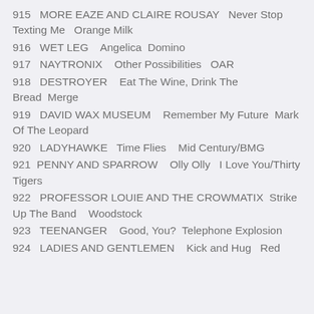915   MORE EAZE AND CLAIRE ROUSAY   Never Stop Texting Me   Orange Milk
916   WET LEG   Angelica   Domino
917   NAYTRONIX   Other Possibilities   OAR
918   DESTROYER   Eat The Wine, Drink The Bread   Merge
919   DAVID WAX MUSEUM   Remember My Future   Mark Of The Leopard
920   LADYHAWKE   Time Flies   Mid Century/BMG
921   PENNY AND SPARROW   Olly Olly   I Love You/Thirty Tigers
922   PROFESSOR LOUIE AND THE CROWMATIX   Strike Up The Band   Woodstock
923   TEENANGER   Good, You?   Telephone Explosion
924   LADIES AND GENTLEMEN   Kick and Hug   Red